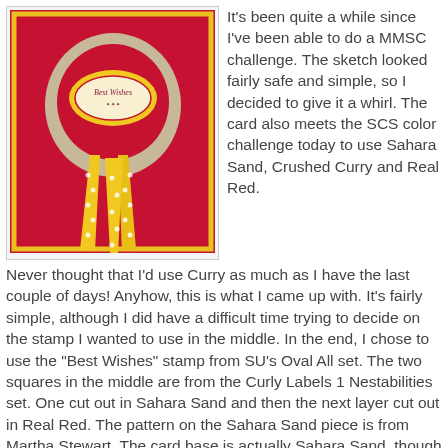[Figure (photo): A handmade greeting card with a red background, yellow ribbon rosette design, and a 'Best Wishes' oval stamp in the center on a Sahara Sand patterned piece.]
It's been quite a while since I've been able to do a MMSC challenge. The sketch looked fairly safe and simple, so I decided to give it a whirl. The card also meets the SCS color challenge today to use Sahara Sand, Crushed Curry and Real Red.
Never thought that I'd use Curry as much as I have the last couple of days! Anyhow, this is what I came up with. It's fairly simple, although I did have a difficult time trying to decide on the stamp I wanted to use in the middle. In the end, I chose to use the "Best Wishes" stamp from SU's Oval All set. The two squares in the middle are from the Curly Labels 1 Nestabilities set. One cut out in Sahara Sand and then the next layer cut out in Real Red. The pattern on the Sahara Sand piece is from Martha Stewart. The card base is actually Sahara Sand, though it's hard to tell by the picture.
That's it for me, I hope you like it. I'm going to try to post more later on, but at once if I'm going to be able to, I'll